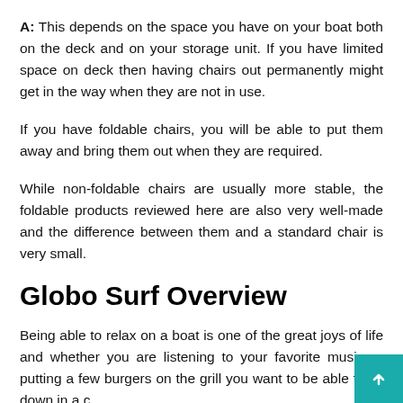A: This depends on the space you have on your boat both on the deck and on your storage unit. If you have limited space on deck then having chairs out permanently might get in the way when they are not in use.
If you have foldable chairs, you will be able to put them away and bring them out when they are required.
While non-foldable chairs are usually more stable, the foldable products reviewed here are also very well-made and the difference between them and a standard chair is very small.
Globo Surf Overview
Being able to relax on a boat is one of the great joys of life and whether you are listening to your favorite music or putting a few burgers on the grill you want to be able to sit down in a c...